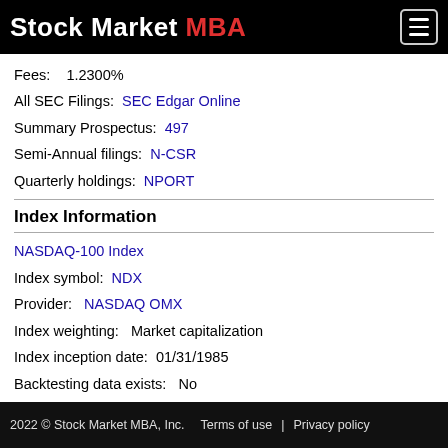Stock Market MBA
Fees: 1.2300%
All SEC Filings: SEC Edgar Online
Summary Prospectus: 497
Semi-Annual filings: N-CSR
Quarterly holdings: NPORT
Index Information
NASDAQ-100 Index
Index symbol: NDX
Provider: NASDAQ OMX
Index weighting: Market capitalization
Index inception date: 01/31/1985
Backtesting data exists: No
Number of holdings: 100
Strategy: Passive market cap indexing
2022 © Stock Market MBA, Inc.   Terms of use | Privacy policy